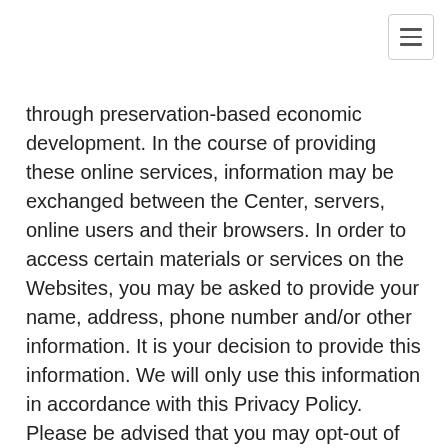[Figure (other): Hamburger menu button icon in top-right corner]
through preservation-based economic development. In the course of providing these online services, information may be exchanged between the Center, servers, online users and their browsers. In order to access certain materials or services on the Websites, you may be asked to provide your name, address, phone number and/or other information. It is your decision to provide this information. We will only use this information in accordance with this Privacy Policy. Please be advised that you may opt-out of receiving certain information from the Center as provided herein. If you do not agree to this Privacy Policy, please do not use the Websites.
The Center's Terms of Use also govern the use of the